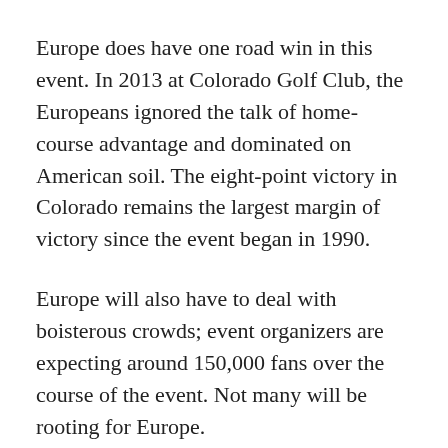Europe does have one road win in this event. In 2013 at Colorado Golf Club, the Europeans ignored the talk of home-course advantage and dominated on American soil. The eight-point victory in Colorado remains the largest margin of victory since the event began in 1990.
Europe will also have to deal with boisterous crowds; event organizers are expecting around 150,000 fans over the course of the event. Not many will be rooting for Europe.
“I feel like most times when we’re on the U.S. soil, we at least have our families here, maybe some close friends, maybe some very supportive supporters from Europe, but that will be different this year,” Nordqvist said. “I think this year we’re just going to have to accept the fact that we don’t know if there’s going to be any fans other than